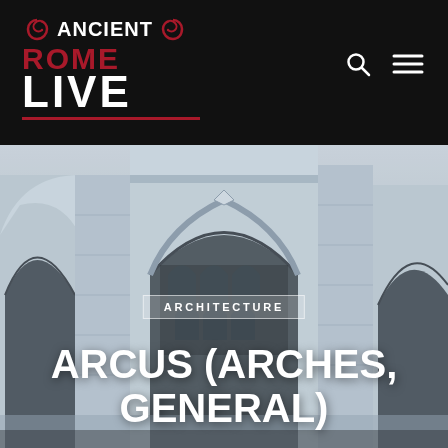ANCIENT ROME LIVE
[Figure (photo): Black and white / desaturated photograph of ancient Roman stone arches and architectural detail, showing the Colosseum or similar Roman structure with multiple arched openings and stone masonry.]
ARCHITECTURE
ARCUS (ARCHES, GENERAL)